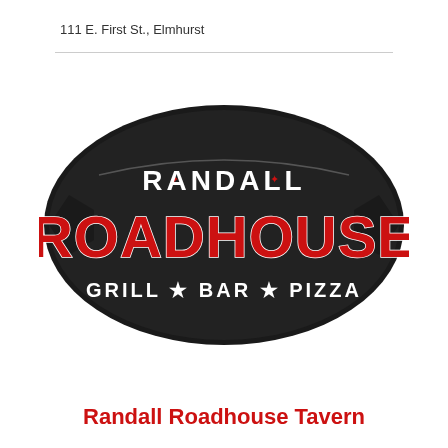111 E. First St., Elmhurst
[Figure (logo): Randall Roadhouse Grill Bar Pizza oval logo with dark background, white text 'RANDALL' at top, large red text 'ROADHOUSE' in the center, and white text 'GRILL * BAR * PIZZA' at the bottom]
Randall Roadhouse Tavern